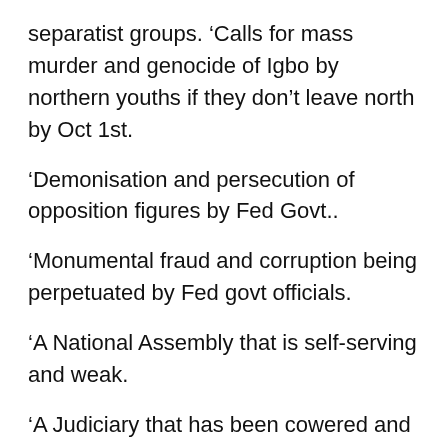separatist groups. ‘Calls for mass murder and genocide of Igbo by northern youths if they don’t leave north by Oct 1st.
‘Demonisation and persecution of opposition figures by Fed Govt..
‘Monumental fraud and corruption being perpetuated by Fed govt officials.
‘A National Assembly that is self-serving and weak.
‘A Judiciary that has been cowered and that is terrified of the executive.
‘A media that is a toothless bulldog, that has been intimidated and that has been brought to its knees.
‘Nigeria is now a laughing stock in int community